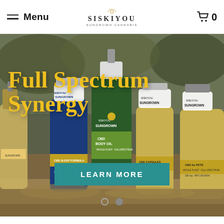Menu | SISKIYOU SUNGROWN CANNABIS | 0
[Figure (photo): Hero banner showing multiple Siskiyou Sungrown CBD product bottles (tinctures, CBD Body Oil spray, Sleep Formula capsules, CBD Capsules, CBD for Pets) arranged on sandy/earthy ground with blurred outdoor background. Overlay text reads 'Full Spectrum Synergy' in gold and a teal 'LEARN MORE' button. Two carousel dots at the bottom.]